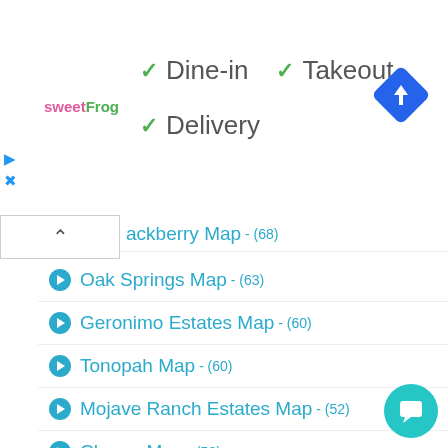[Figure (logo): sweetFrog logo]
✓ Dine-in  ✓ Takeout
✓ Delivery
[Figure (other): Blue navigation diamond icon with right arrow]
ackberry Map - (68)
Oak Springs Map - (63)
Geronimo Estates Map - (60)
Tonopah Map - (60)
Mojave Ranch Estates Map - (52)
Charco Map - (52)
Rock House Map - (50)
Ventana Map - (49)
Hunter Creek Map - (48)
Aztec Map - (47)